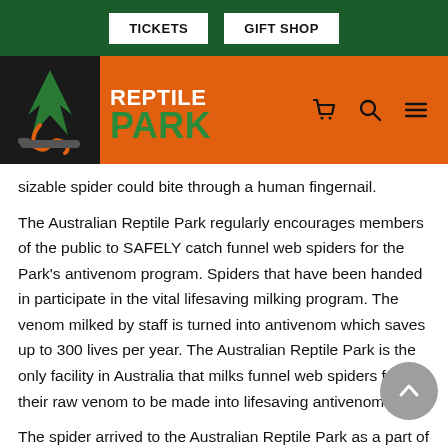TICKETS | GIFT SHOP
[Figure (logo): Australian Reptile Park logo with navigation icons]
sizable spider could bite through a human fingernail.
The Australian Reptile Park regularly encourages members of the public to SAFELY catch funnel web spiders for the Park's antivenom program. Spiders that have been handed in participate in the vital lifesaving milking program. The venom milked by staff is turned into antivenom which saves up to 300 lives per year. The Australian Reptile Park is the only facility in Australia that milks funnel web spiders for their raw venom to be made into lifesaving antivenom.
The spider arrived to the Australian Reptile Park as a part of